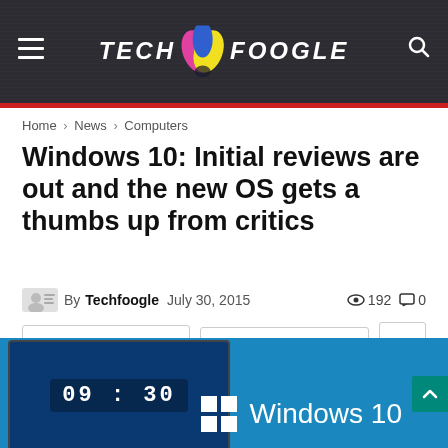TECH FOOGLE
Home › News › Computers
Windows 10: Initial reviews are out and the new OS gets a thumbs up from critics
By Techfoogle  July 30, 2015  👁 192  💬 0
Facebook  Twitter  +
[Figure (screenshot): Windows 10 promotional image showing a laptop screen with time 09:30 and the Windows 10 logo on a blue background]